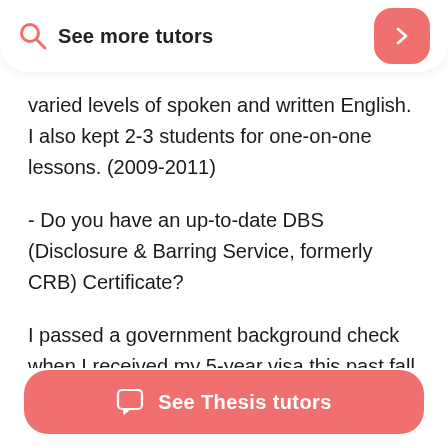See more tutors
varied levels of spoken and written English. I also kept 2-3 students for one-on-one lessons. (2009-2011)
- Do you have an up-to-date DBS (Disclosure & Barring Service, formerly CRB) Certificate?
I passed a government background check when I received my 5-year visa this past fall
See Thesis tutors